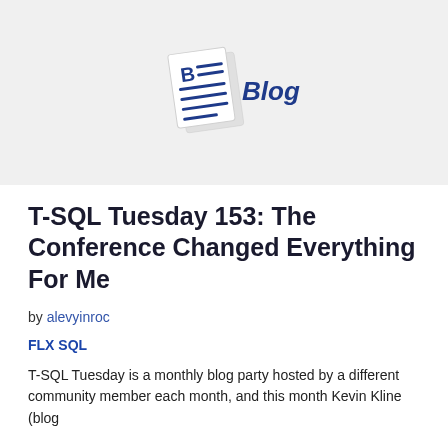[Figure (illustration): Blog header image: light gray rectangle with a tilted document icon (showing a 'B' and horizontal lines) and the italic bold text 'Blog' next to it]
T-SQL Tuesday 153: The Conference Changed Everything For Me
by alevyinroc
FLX SQL
T-SQL Tuesday is a monthly blog party hosted by a different community member each month, and this month Kevin Kline (blog